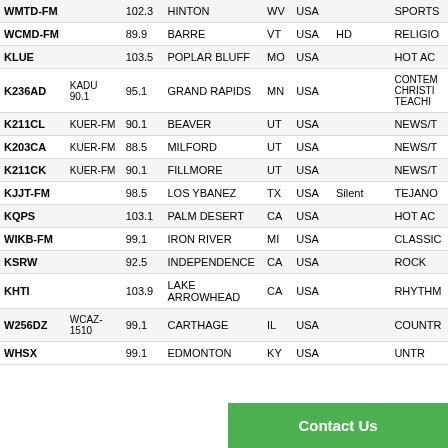| Call Sign | Affiliated | Freq | City | ST | Country | Status |  | Format |
| --- | --- | --- | --- | --- | --- | --- | --- | --- |
| WMTD-FM |  | 102.3 | HINTON | WV | USA |  |  | SPORTS |
| WCMD-FM |  | 89.9 | BARRE | VT | USA | HD |  | RELIGIO |
| KLUE |  | 103.5 | POPLAR BLUFF | MO | USA |  |  | HOT AC |
| K236AD | KADU 90.1 | 95.1 | GRAND RAPIDS | MN | USA |  |  | CONTEM CHRISTI TEACHI |
| K211CL | KUER-FM | 90.1 | BEAVER | UT | USA |  |  | NEWS/T |
| K203CA | KUER-FM | 88.5 | MILFORD | UT | USA |  |  | NEWS/T |
| K211CK | KUER-FM | 90.1 | FILLMORE | UT | USA |  |  | NEWS/T |
| KJJT-FM |  | 98.5 | LOS YBANEZ | TX | USA | Silent |  | TEJANO |
| KQPS |  | 103.1 | PALM DESERT | CA | USA |  |  | HOT AC |
| WIKB-FM |  | 99.1 | IRON RIVER | MI | USA |  |  | CLASSIC |
| KSRW |  | 92.5 | INDEPENDENCE | CA | USA |  |  | ROCK |
| KHTI |  | 103.9 | LAKE ARROWHEAD | CA | USA |  |  | RHYTHM |
| W256DZ | WCAZ-1510 | 99.1 | CARTHAGE | IL | USA |  |  | COUNTR |
| WHSX |  | 99.1 | EDMONTON | KY | USA |  |  | UNTR |